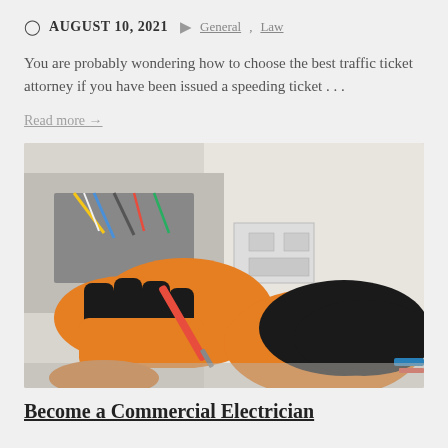AUGUST 10, 2021  General, Law
You are probably wondering how to choose the best traffic ticket attorney if you have been issued a speeding ticket . . .
Read more →
[Figure (photo): Person wearing orange and black gloves working on electrical wiring in a junction box, using a red screwdriver]
Become a Commercial Electrician